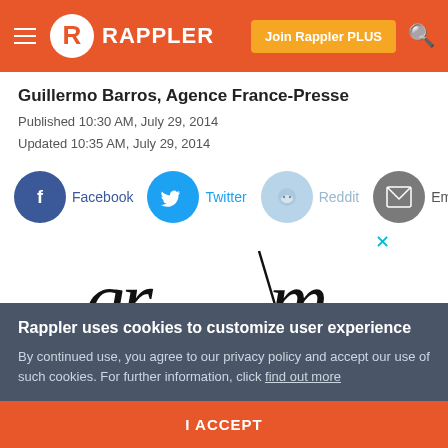Rappler — Join Rappler PLUS
Guillermo Barros, Agence France-Presse
Published 10:30 AM, July 29, 2014
Updated 10:35 AM, July 29, 2014
[Figure (infographic): Social share buttons: Facebook, Twitter, Reddit, Email]
[Figure (logo): grwm advertising logo in serif italic font with a diagonal slash]
Rappler uses cookies to customize user experience
By continued use, you agree to our privacy policy and accept our use of such cookies. For further information, click find out more
I ACCEPT